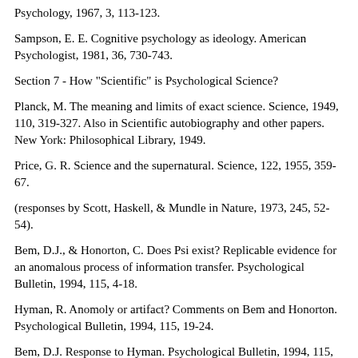Psychology, 1967, 3, 113-123.
Sampson, E. E. Cognitive psychology as ideology. American Psychologist, 1981, 36, 730-743.
Section 7 - How "Scientific" is Psychological Science?
Planck, M. The meaning and limits of exact science. Science, 1949, 110, 319-327. Also in Scientific autobiography and other papers. New York: Philosophical Library, 1949.
Price, G. R. Science and the supernatural. Science, 122, 1955, 359-67.
(responses by Scott, Haskell, & Mundle in Nature, 1973, 245, 52-54).
Bem, D.J., & Honorton, C. Does Psi exist? Replicable evidence for an anomalous process of information transfer. Psychological Bulletin, 1994, 115, 4-18.
Hyman, R. Anomoly or artifact? Comments on Bem and Honorton. Psychological Bulletin, 1994, 115, 19-24.
Bem, D.J. Response to Hyman. Psychological Bulletin, 1994, 115, 25-27.